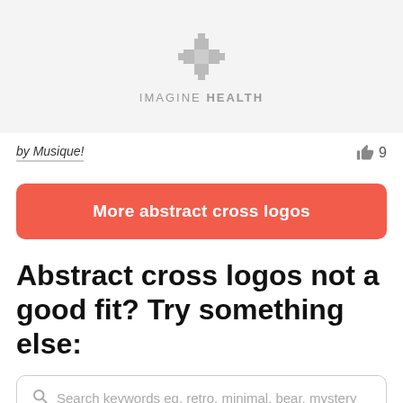[Figure (logo): Imagine Health logo: a grey filmstrip/cross icon above the text IMAGINE HEALTH in grey uppercase letters on a light grey background]
by Musique!
9
More abstract cross logos
Abstract cross logos not a good fit? Try something else:
Search keywords eg. retro, minimal, bear, mystery